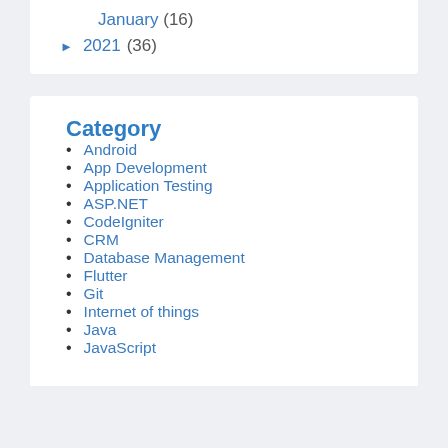January (16)
► 2021 (36)
Category
Android
App Development
Application Testing
ASP.NET
CodeIgniter
CRM
Database Management
Flutter
Git
Internet of things
Java
JavaScript